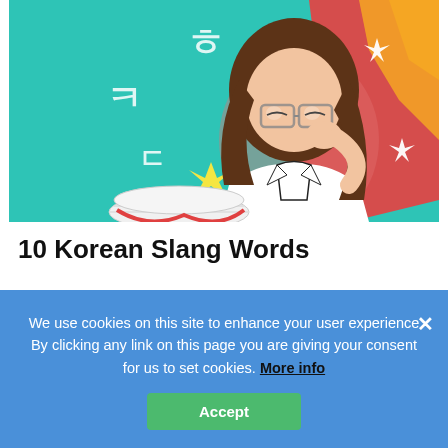[Figure (illustration): Illustrated woman with glasses and long brown hair reading a document, looking puzzled. Background is teal with Korean hangul characters (ㅎ, ㅋ, ㄷ, ㄹ), yellow and white sparkle stars, and orange/red flame shapes.]
10 Korean Slang Words
🇳🇬 Aivanye Titi  ·  January 6, 2022
From a non-Korean speaker's point of view, you may hear slang words that are used by native Koreans. Are you ready...
We use cookies on this site to enhance your user experience By clicking any link on this page you are giving your consent for us to set cookies. More info
Accept